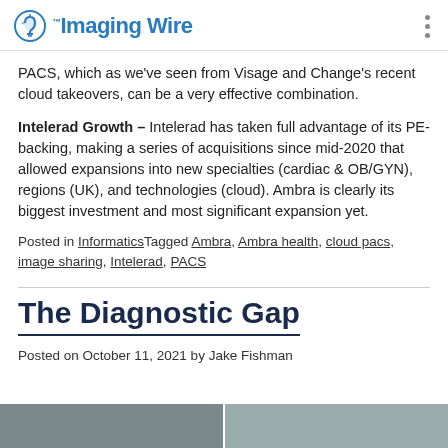The Imaging Wire
PACS, which as we've seen from Visage and Change's recent cloud takeovers, can be a very effective combination.
Intelerad Growth – Intelerad has taken full advantage of its PE-backing, making a series of acquisitions since mid-2020 that allowed expansions into new specialties (cardiac & OB/GYN), regions (UK), and technologies (cloud). Ambra is clearly its biggest investment and most significant expansion yet.
Posted in InformaticsTagged Ambra, Ambra health, cloud pacs, image sharing, Intelerad, PACS
The Diagnostic Gap
Posted on October 11, 2021 by Jake Fishman
[Figure (photo): Bottom strip showing two partial photographs, cropped at the bottom of the page.]